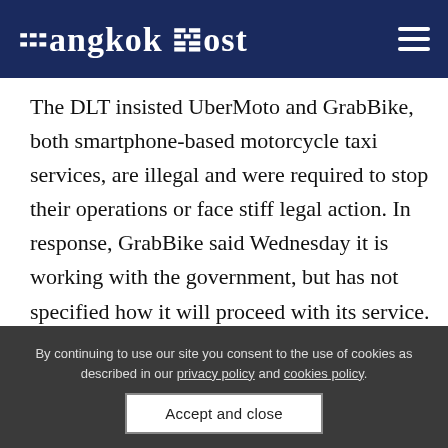Bangkok Post
The DLT insisted UberMoto and GrabBike, both smartphone-based motorcycle taxi services, are illegal and were required to stop their operations or face stiff legal action. In response, GrabBike said Wednesday it is working with the government, but has not specified how it will proceed with its service.
By continuing to use our site you consent to the use of cookies as described in our privacy policy and cookies policy.
Accept and close